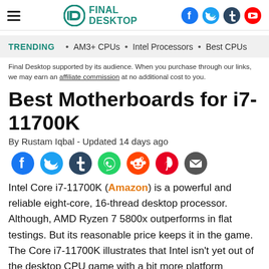Final Desktop
TRENDING • AM3+ CPUs • Intel Processors • Best CPUs
Final Desktop supported by its audience. When you purchase through our links, we may earn an affiliate commission at no additional cost to you.
Best Motherboards for i7-11700K
By Rustam Iqbal - Updated 14 days ago
[Figure (other): Social share buttons: Facebook, Twitter, Tumblr, WhatsApp, Reddit, Pinterest, Email]
Intel Core i7-11700K (Amazon) is a powerful and reliable eight-core, 16-thread desktop processor. Although, AMD Ryzen 7 5800x outperforms in flat testings. But its reasonable price keeps it in the game. The Core i7-11700K illustrates that Intel isn't yet out of the desktop CPU game with a bit more platform maturity and aggressive pricing.